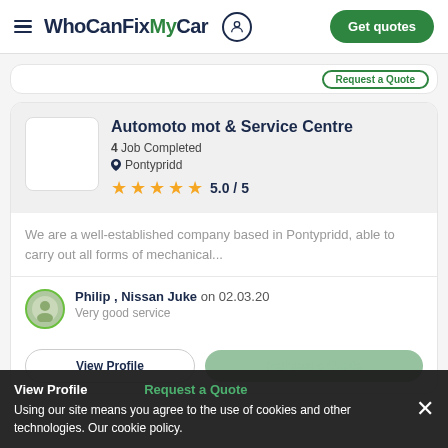WhoCanFixMyCar  Get quotes
Automoto mot & Service Centre
4 Job Completed
Pontypridd
5.0 / 5
We are a well-established company based in Pontypridd, able to carry out all forms of mechanical...
Philip , Nissan Juke on 02.03.20
Very good service
View Profile   Request a Quote
Using our site means you agree to the use of cookies and other technologies. Our cookie policy.